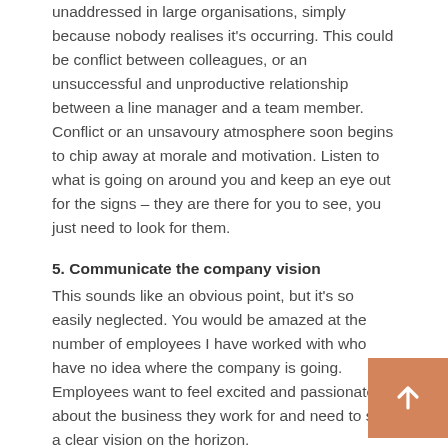unaddressed in large organisations, simply because nobody realises it's occurring. This could be conflict between colleagues, or an unsuccessful and unproductive relationship between a line manager and a team member. Conflict or an unsavoury atmosphere soon begins to chip away at morale and motivation. Listen to what is going on around you and keep an eye out for the signs – they are there for you to see, you just need to look for them.
5. Communicate the company vision
This sounds like an obvious point, but it's so easily neglected. You would be amazed at the number of employees I have worked with who have no idea where the company is going. Employees want to feel excited and passionate about the business they work for and need to see a clear vision on the horizon.
[Figure (other): Orange square button with white upward arrow icon]